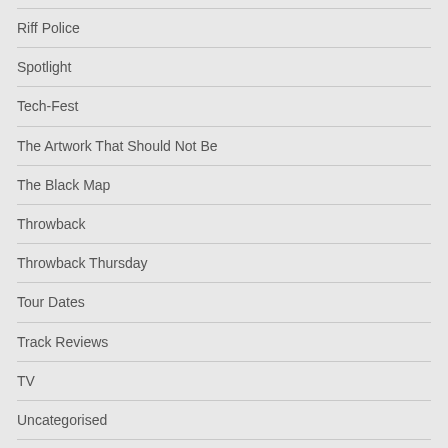Riff Police
Spotlight
Tech-Fest
The Artwork That Should Not Be
The Black Map
Throwback
Throwback Thursday
Tour Dates
Track Reviews
TV
Uncategorised
Under The Influence